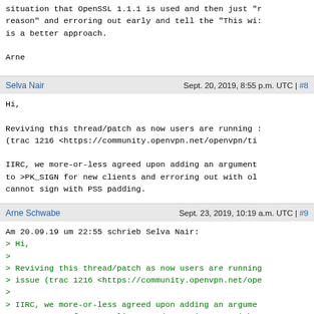situation that OpenSSL 1.1.1 is used and then just "r reason" and erroring out early and tell the "This wi is a better approach.

Arne
Selva Nair   Sept. 20, 2019, 8:55 p.m. UTC | #8
Hi,

Reviving this thread/patch as now users are running i (trac 1216 <https://community.openvpn.net/openvpn/ti

IIRC, we more-or-less agreed upon adding an argument to >PK_SIGN for new clients and erroring out with ol cannot sign with PSS padding.

Selva
<div dir="ltr"><div dir="ltr">Hi,<br><br>Reviving th:
Arne Schwabe   Sept. 23, 2019, 10:19 a.m. UTC | #9
Am 20.09.19 um 22:55 schrieb Selva Nair:
> Hi,
>
> Reviving this thread/patch as now users are running > issue (trac 1216 <https://community.openvpn.net/ope >
> IIRC, we more-or-less agreed upon adding an argume > to >PK_SIGN for new clients and erroring out with